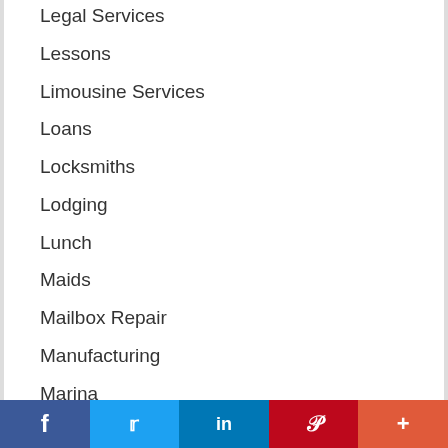Legal Services
Lessons
Limousine Services
Loans
Locksmiths
Lodging
Lunch
Maids
Mailbox Repair
Manufacturing
Marina
Marketing
Marketing Agencies
Marketing Services
f  Twitter  in  P  +